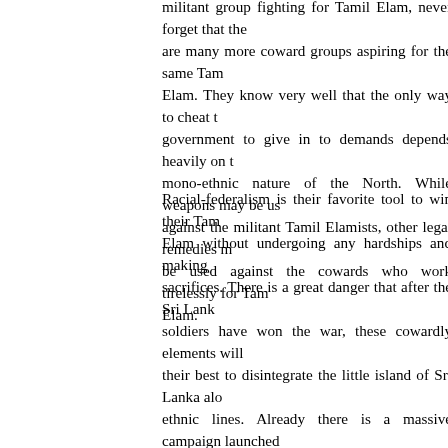militant group fighting for Tamil Elam, never forget that there are many more coward groups aspiring for the same Tamil Elam. They know very well that the only way to cheat the government to give in to demands depends heavily on the mono-ethnic nature of the North. While weapons may be used against the militant Tamil Elamists, other legal remedies must be used against the cowards who work tirelessly for Tamil Elam.
Racial-federalism is their favorite tool to win their Tamil Elam without undergoing any hardships and making sacrifices. There is a great danger that after the Sri Lanka soldiers have won the war, these cowardly elements will try their best to disintegrate the little island of Sri Lanka along ethnic lines. Already there is a massive campaign launched by them to promote racial-federalism. These attempts must be defeated. Best counteract for these attempts is to launch a vigorous srilankanisation campaign. The end result of the srilankanisation campaign is to ensure that there are no significant pro-disintegration forces at work throughout the country. In order to do this it is essential that the North is transformed into a multi-ethnic community. Fortunately for Sri Lanka, the Northern Province offers the best development potential among all provinces of Sri Lanka. It has abundant of minerals, arable land, fisheries and many more indust